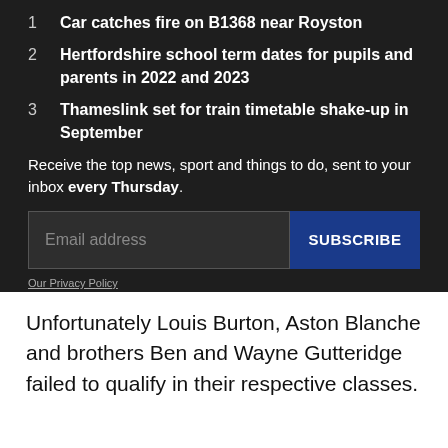1  Car catches fire on B1368 near Royston
2  Hertfordshire school term dates for pupils and parents in 2022 and 2023
3  Thameslink set for train timetable shake-up in September
Receive the top news, sport and things to do, sent to your inbox every Thursday.
Email address
SUBSCRIBE
Our Privacy Policy
Unfortunately Louis Burton, Aston Blanche and brothers Ben and Wayne Gutteridge failed to qualify in their respective classes.